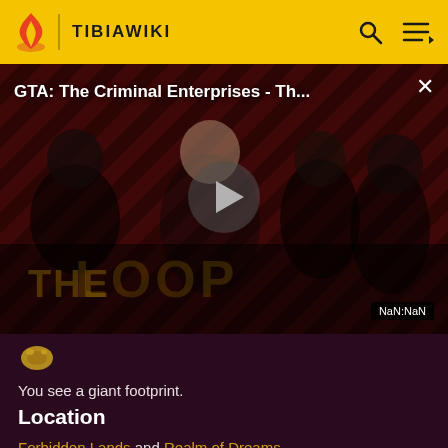TIBIAWIKI
[Figure (screenshot): Video advertisement banner for GTA: The Criminal Enterprises - The Loop, showing characters on a diagonal striped background with a play button in the center and NaN:NaN timestamp]
You see a giant footprint.
Location
Forbidden Lands and Realm of Dreams.
Notes